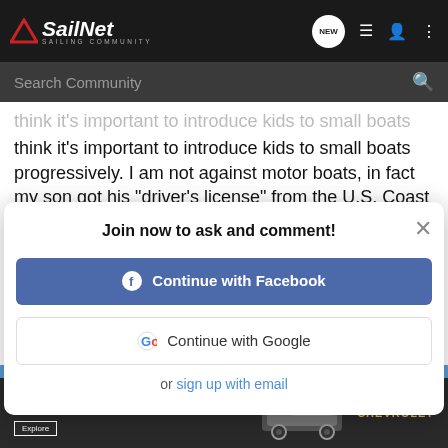SailNet - Sailing Community
Search Community
think it's important to introduce kids to small boats progressively. I am not against motor boats, in fact my son got his "driver's license" from the U.S. Coast Guard Auxiliary (which your son will need to do if you plan to let him operate the motorized dinghy) when he was 10 years old and is fully capable of handling them.
But we first taught our kids to row, then to sail.
Here my son stress sailing dinghies (the one we built), in about 20 knots of breeze. No inflatable, even on a plane, can come close.
[Figure (screenshot): Join now modal with Facebook and Google sign-in options and email sign-up link]
[Figure (photo): Chevrolet Silverado 2022 advertisement with truck image and Explore button]